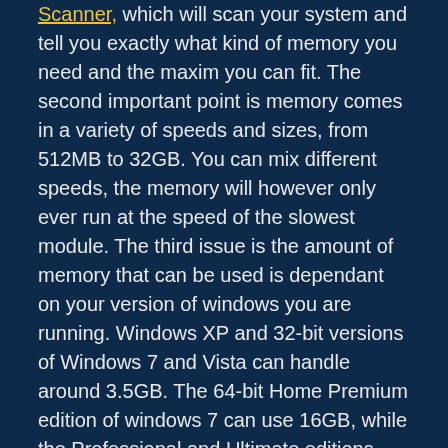Scanner, which will scan your system and tell you exactly what kind of memory you need and the maxim you can fit. The second important point is memory comes in a variety of speeds and sizes, from 512MB to 32GB. You can mix different speeds, the memory will however only ever run at the speed of the slowest module. The third issue is the amount of memory that can be used is dependant on your version of windows you are running. Windows XP and 32-bit versions of Windows 7 and Vista can handle around 3.5GB. The 64-bit Home Premium edition of windows 7 can use 16GB, while the Professional and Ultimate editions support up to 192GB. Windows 8 can handle 4GB for 32 bit, regardless of edition. For 64 bit, the standard edition of Windows 8 maxes out at 128GB. For Windows 8 Pro and Enterprise, 512GB. So if you are going to install more than 4GB you should think about upgrading the operating system also.
What to avoid
Static electricity can damage your computers memory, so turn off your computer, briefly touch an unpainted metal part